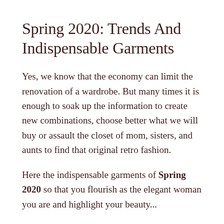Spring 2020: Trends And Indispensable Garments
Yes, we know that the economy can limit the renovation of a wardrobe. But many times it is enough to soak up the information to create new combinations, choose better what we will buy or assault the closet of mom, sisters, and aunts to find that original retro fashion.
Here the indispensable garments of Spring 2020 so that you flourish as the elegant woman you are and highlight your beauty...